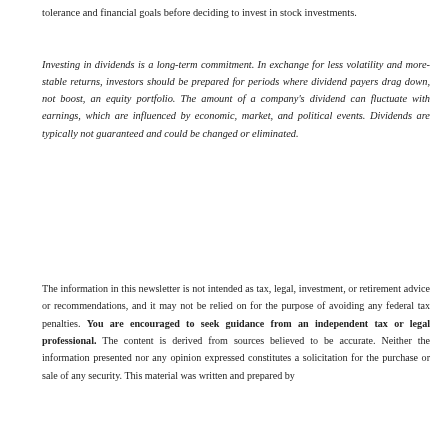tolerance and financial goals before deciding to invest in stock investments.
Investing in dividends is a long-term commitment. In exchange for less volatility and more-stable returns, investors should be prepared for periods where dividend payers drag down, not boost, an equity portfolio. The amount of a company's dividend can fluctuate with earnings, which are influenced by economic, market, and political events. Dividends are typically not guaranteed and could be changed or eliminated.
The information in this newsletter is not intended as tax, legal, investment, or retirement advice or recommendations, and it may not be relied on for the purpose of avoiding any federal tax penalties. You are encouraged to seek guidance from an independent tax or legal professional. The content is derived from sources believed to be accurate. Neither the information presented nor any opinion expressed constitutes a solicitation for the purchase or sale of any security. This material was written and prepared by